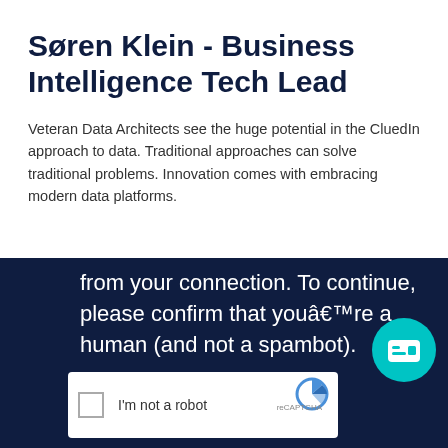Søren Klein - Business Intelligence Tech Lead
Veteran Data Architects see the huge potential in the CluedIn approach to data. Traditional approaches can solve traditional problems. Innovation comes with embracing modern data platforms.
from your connection. To continue, please confirm that youâre a human (and not a spambot).
[Figure (screenshot): reCAPTCHA widget with checkbox labeled I'm not a robot]